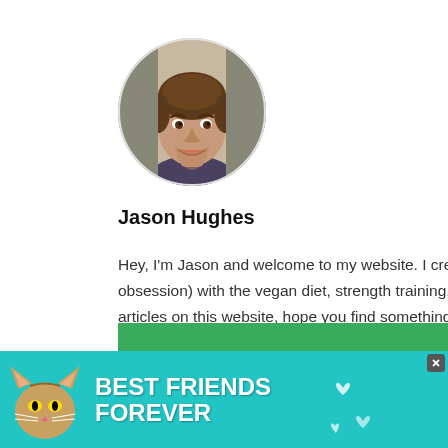[Figure (photo): Circular profile photo of a young man smiling, dark hair, stubble beard, wearing a dark tank top. Gym background.]
Jason Hughes
Hey, I'm Jason and welcome to my website. I created VeganLiftz because of my passion (more like obsession) with the vegan diet, strength training, and bodybuilding. Feel free to peruse the various articles on this website, hope you find something useful!
[Figure (infographic): Advertisement banner with teal background featuring a cat and text 'BEST FRIENDS FOREVER' with heart icons.]